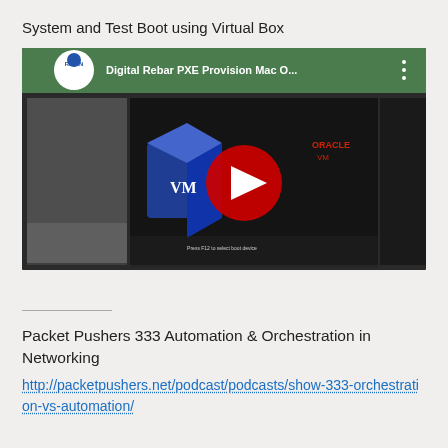System and Test Boot using Virtual Box
[Figure (screenshot): YouTube video thumbnail showing Digital Rebar PXE Provision Mac O... with RackN logo, VirtualBox logo overlay, and red YouTube play button in center. Screenshot shows a web browser interface in background.]
Packet Pushers 333 Automation & Orchestration in Networking
http://packetpushers.net/podcast/podcasts/show-333-orchestration-vs-automation/